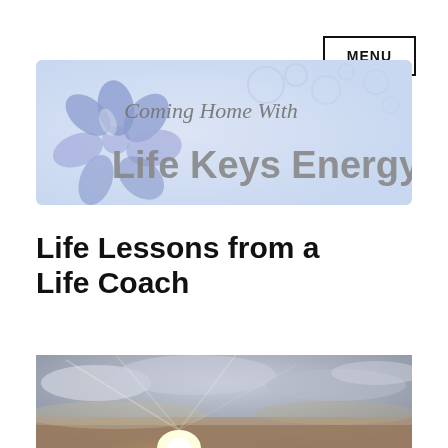MENU
[Figure (logo): Coming Home With Life Keys Energy logo — purple flower on left, script text 'Coming Home With' above bold gray text 'Life Keys Energy' on a light purple bubble background]
Life Lessons from a Life Coach
[Figure (photo): Photograph of a dramatic sky with sunlight breaking through clouds, warm golden tones at the horizon]